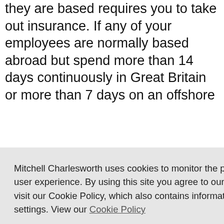they are based requires you to take out insurance. If any of your employees are normally based abroad but spend more than 14 days continuously in Great Britain or more than 7 days on an offshore
Mitchell Charlesworth uses cookies to monitor the performance of this website and improve user experience. By using this site you agree to our use of cookies. To find out more please visit our Cookie Policy, which also contains information on how to manage your cookie settings. View our Cookie Policy
Close